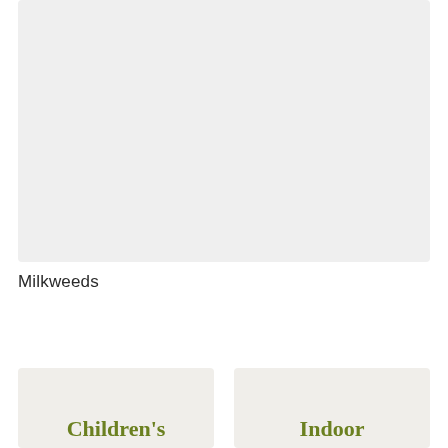[Figure (photo): Large light gray placeholder image area at top of page]
Milkweeds
[Figure (photo): Left card with light beige background showing partial text 'Children's']
[Figure (photo): Right card with light beige background showing partial text 'Indoor']